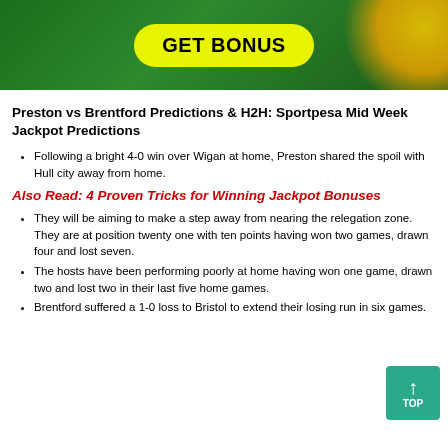[Figure (illustration): Green sports betting banner with yellow GET BONUS button and gold coins on the right]
Preston vs Brentford Predictions & H2H: Sportpesa Mid Week Jackpot Predictions
Following a bright 4-0 win over Wigan at home, Preston shared the spoil with Hull city away from home.
Also Read: 4 Proven Tricks for Winning Jackpot Bonuses
They will be aiming to make a step away from nearing the relegation zone. They are at position twenty one with ten points having won two games, drawn four and lost seven.
The hosts have been performing poorly at home having won one game, drawn two and lost two in their last five home games.
Brentford suffered a 1-0 loss to Bristol to extend their losing run in six games.